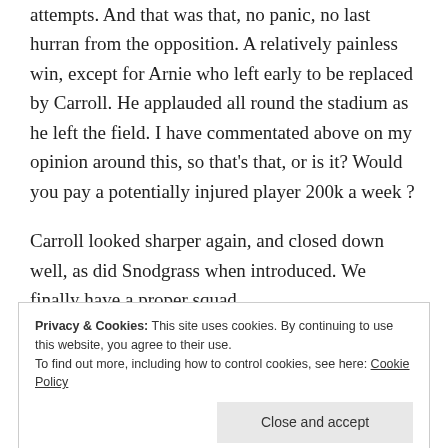attempts. And that was that, no panic, no last hurran from the opposition. A relatively painless win, except for Arnie who left early to be replaced by Carroll. He applauded all round the stadium as he left the field. I have commentated above on my opinion around this, so that’s that, or is it? Would you pay a potentially injured player 200k a week ?
Carroll looked sharper again, and closed down well, as did Snodgrass when introduced. We finally have a proper squad.
Privacy & Cookies: This site uses cookies. By continuing to use this website, you agree to their use.
To find out more, including how to control cookies, see here: Cookie Policy
Close and accept